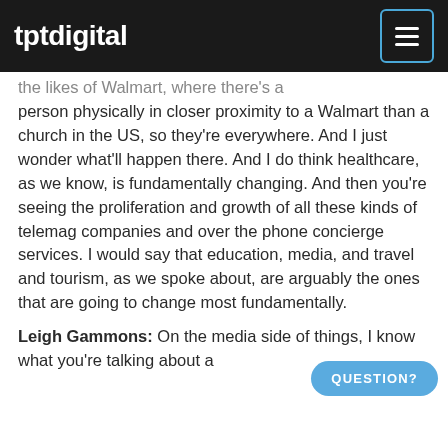tptdigital
the likes of Walmart, where there's a person physically in closer proximity to a Walmart than a church in the US, so they're everywhere. And I just wonder what'll happen there. And I do think healthcare, as we know, is fundamentally changing. And then you're seeing the proliferation and growth of all these kinds of telemag companies and over the phone concierge services. I would say that education, media, and travel and tourism, as we spoke about, are arguably the ones that are going to change most fundamentally.
Leigh Gammons: On the media side of things, I know what you're talking about a